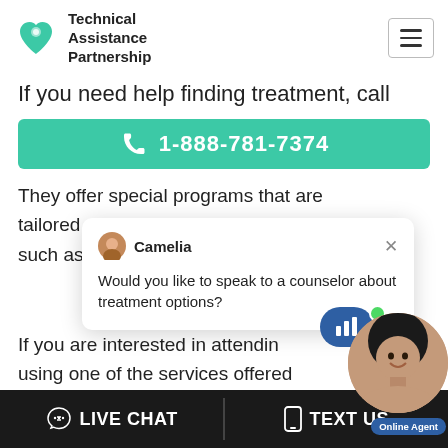Technical Assistance Partnership
If you need help finding treatment, call
1-888-781-7374
They offer special programs that are tailored... such as...
[Figure (screenshot): Chat popup from Camelia asking: Would you like to speak to a counselor about treatment options?]
If you are interested in attending... using one of the services offered... Friends of Children and Families, th... accept the following payment types...
[Figure (photo): Online Agent widget with woman photo, blue chat bubble, green dot, and Online Agent label]
LIVE CHAT   TEXT US